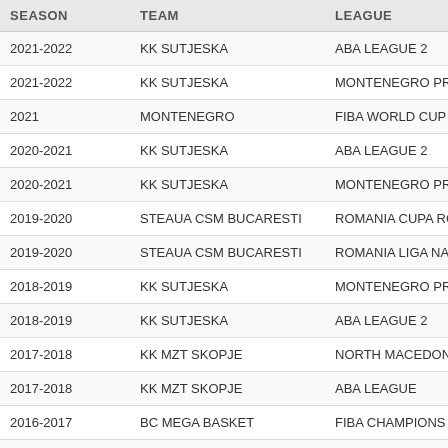| SEASON | TEAM | LEAGUE |
| --- | --- | --- |
| 2021-2022 | KK SUTJESKA | ABA LEAGUE 2 |
| 2021-2022 | KK SUTJESKA | MONTENEGRO PRVA A |
| 2021 | MONTENEGRO | FIBA WORLD CUP QUA |
| 2020-2021 | KK SUTJESKA | ABA LEAGUE 2 |
| 2020-2021 | KK SUTJESKA | MONTENEGRO PRVA A |
| 2019-2020 | STEAUA CSM BUCARESTI | ROMANIA CUPA ROMAN |
| 2019-2020 | STEAUA CSM BUCARESTI | ROMANIA LIGA NATION |
| 2018-2019 | KK SUTJESKA | MONTENEGRO PRVA A |
| 2018-2019 | KK SUTJESKA | ABA LEAGUE 2 |
| 2017-2018 | KK MZT SKOPJE | NORTH MACEDONIA SU |
| 2017-2018 | KK MZT SKOPJE | ABA LEAGUE |
| 2016-2017 | BC MEGA BASKET | FIBA CHAMPIONS LEAG |
| 2016-2017 | BC MEGA BASKET | SERBIA KLS |
| 2016-2017 | BC MEGA BASKET | ABA LEAGUE |
| 2015-2016 | KK SUTJESKA | ABA LEAGUE |
| 2014-2015 | KK SUTJESKA | BALKAN LEAGUE |